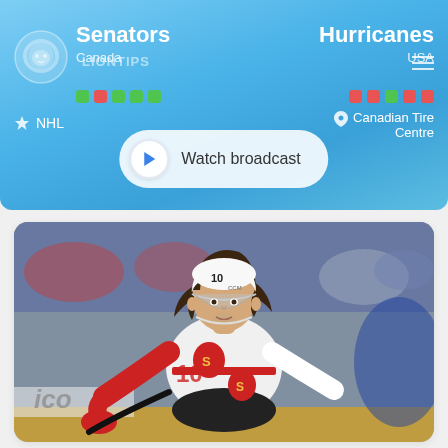Senators
Canada
Hurricanes
USA
NHL
Canadian Tire Centre
Watch broadcast
[Figure (photo): Ottawa Senators hockey player wearing jersey number 10, in white CCM helmet, crouched in playing position on ice rink]